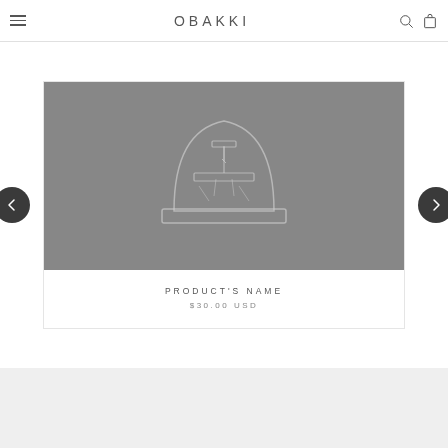OBAKKI
[Figure (screenshot): Product image placeholder showing an outline illustration of a glass cloche/dome with a sewing machine or apparatus inside, on a grey background.]
PRODUCT'S NAME
$30.00 USD